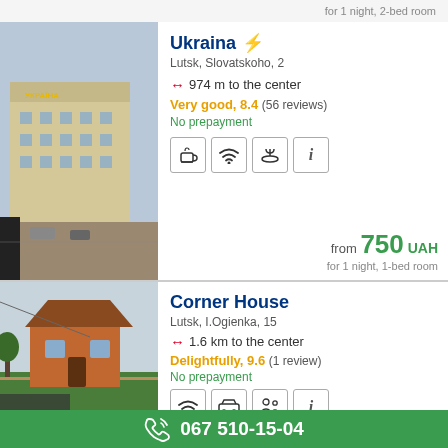for 1 night, 2-bed room
Ukraina ⚡
Lutsk, Slovatskoho, 2
↔ 974 m to the center
Very good, 8.4  (56 reviews)
No prepayment
[Figure (other): Amenity icons: coffee, wifi, restaurant, info]
from 750 UAH
for 1 night, 1-bed room
[Figure (photo): Photo of Ukraina hotel exterior]
Corner House
Lutsk, I.Ogienka, 15
↔ 1.6 km to the center
Delightfully, 9.6  (1 review)
No prepayment
[Figure (other): Amenity icons: wifi, parking, family, info]
from 750 UAH
for 1 night, 2-bed room
[Figure (photo): Photo of Corner House exterior]
☎ 067 510-15-04